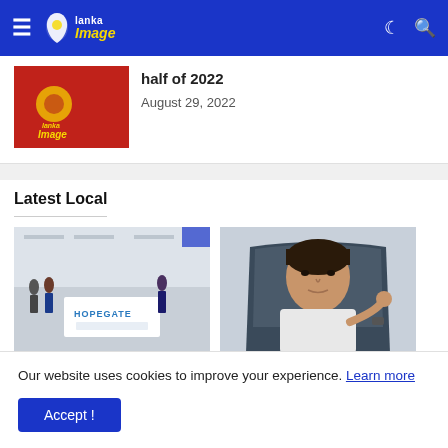Lanka Image - Navigation bar with hamburger menu, logo, moon icon, search icon
[Figure (screenshot): Partial article thumbnail showing Lanka Image logo on red background]
half of 2022
August 29, 2022
Latest Local
[Figure (photo): Airport scene with people and a HOPEGATE sign at counter]
"Hope Gate" for SL migrant
[Figure (photo): Man in white shirt sitting at desk gesturing with hand]
Fuel Price Formula will be
Our website uses cookies to improve your experience. Learn more
Accept !